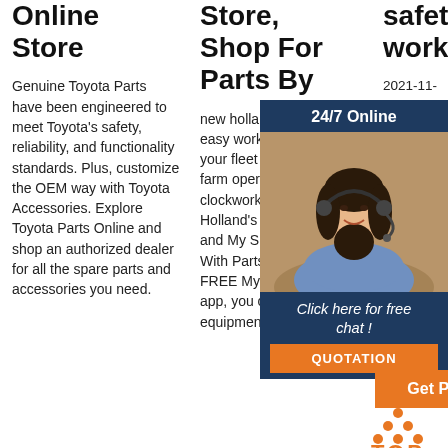Online Store
Genuine Toyota Parts have been engineered to meet Toyota's safety, reliability, and functionality standards. Plus, customize the OEM way with Toyota Accessories. Explore Toyota Parts Online and shop an authorized dealer for all the spare parts and accessories you need.
Store, Shop For Parts By
new holland partstore Make easy work of maintaining your fleet — and keep your farm operation running like clockwork— with New Holland's online Partstore and My Shed mobile app. With Partstore and our FREE My Shed™ mobile app, you can store your equipment data and keep st
safety at work
2021-11-25u2002·u2002Advice, guidance, templates, legislation, publications, Great Britain, independent regulator, related to safety at work HSE
[Figure (photo): Woman with headset smiling, customer service representative]
24/7 Online
Click here for free chat !
QUOTATION
Get Price
[Figure (logo): TOP logo in orange with orange dot triangle above]